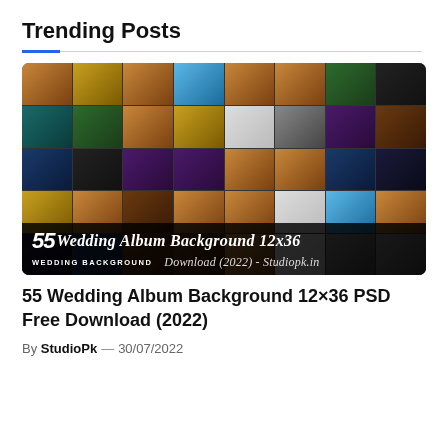Trending Posts
[Figure (photo): Collage of wedding album background templates arranged in a grid, with an overlay bar at the bottom reading '55 Wedding Album Background 12x36 Download (2022) - Studiopk.in' with 'WEDDING BACKGROUND' badge.]
55 Wedding Album Background 12×36 PSD Free Download (2022)
By StudioPk — 30/07/2022